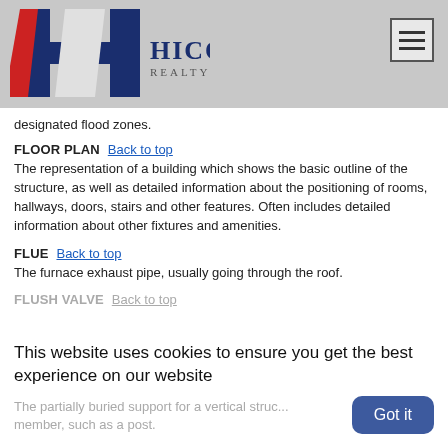HICOR REALTY GROUP
designated flood zones.
FLOOR PLAN
The representation of a building which shows the basic outline of the structure, as well as detailed information about the positioning of rooms, hallways, doors, stairs and other features. Often includes detailed information about other fixtures and amenities.
FLUE
The furnace exhaust pipe, usually going through the roof.
FLUSH VALVE
This website uses cookies to ensure you get the best experience on our website
The partially buried support for a vertical structural member, such as a post.